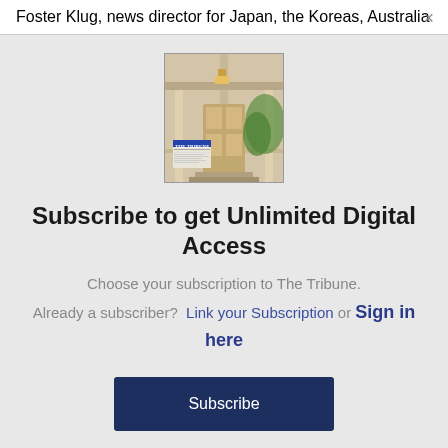Foster Klug, news director for Japan, the Koreas, Australia
[Figure (photo): Newspaper on a porch — The Tribune front page]
Subscribe to get Unlimited Digital Access
Choose your subscription to The Tribune.
Already a subscriber?  Link your Subscription or Sign in here
Subscribe